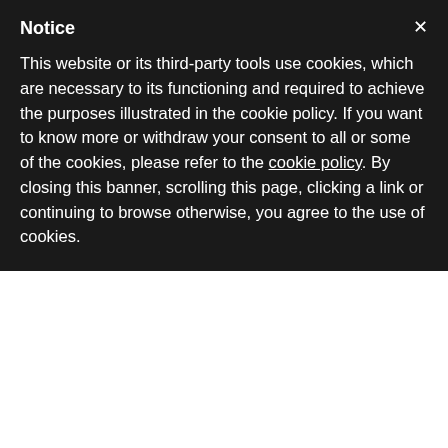Notice
This website or its third-party tools use cookies, which are necessary to its functioning and required to achieve the purposes illustrated in the cookie policy. If you want to know more or withdraw your consent to all or some of the cookies, please refer to the cookie policy.
By closing this banner, scrolling this page, clicking a link or continuing to browse otherwise, you agree to the use of cookies.
a union with nature and local culture?
More posts by Chiara Marras →
This entry was posted in weekend and tagged bicycle, car free holidays, car-free holiday, ecotourism, Italy, mountain, natural par nature, reduce the carbon footprint, respect for the environment, responsible tourism, responsible travel, slow mobility, slow travel, soft mobility, sustainable tourism, Trentino, walking. Bookmark th permalink.